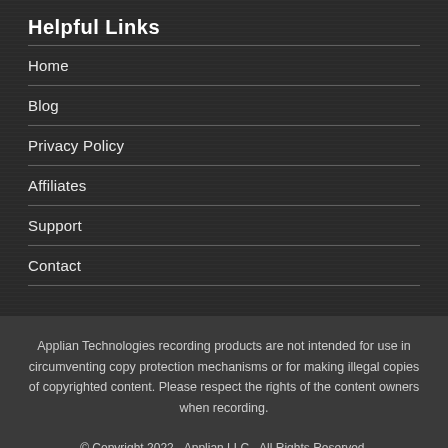Helpful Links
Home
Blog
Privacy Policy
Affiliates
Support
Contact
Applian Technologies recording products are not intended for use in circumventing copy protection mechanisms or for making illegal copies of copyrighted content. Please respect the rights of the content owners when recording.
© Copyright 2022 - Applian LLC - All Rights Reserved.